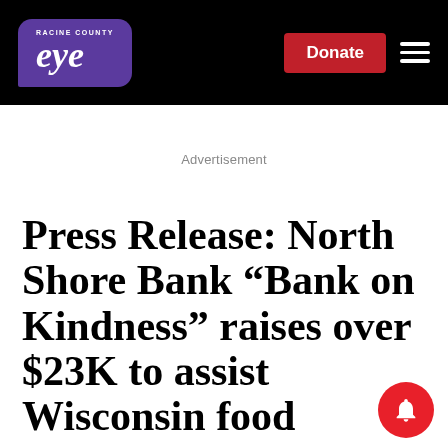Racine County Eye — Donate | Menu
Advertisement
Press Release: North Shore Bank “Bank on Kindness” raises over $23K to assist Wisconsin food